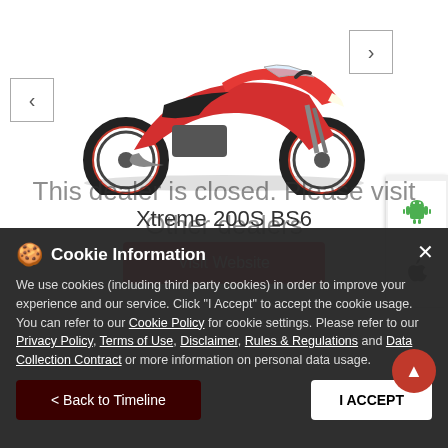[Figure (photo): Red Hero Xtreme 200S BS6 motorcycle on white background with left and right navigation arrows]
Xtreme 200S BS6
Visit Website
This dealer is closed. Please visit Other dealers
Cookie Information
We use cookies (including third party cookies) in order to improve your experience and our service. Click "I Accept" to accept the cookie usage. You can refer to our Cookie Policy for cookie settings. Please refer to our Privacy Policy, Terms of Use, Disclaimer, Rules & Regulations and Data Collection Contract or more information on personal data usage.
< Back to Timeline
I ACCEPT